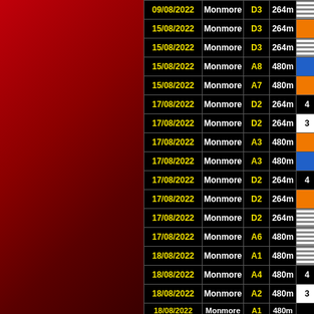| Date | Venue | Grade | Distance | Result |
| --- | --- | --- | --- | --- |
| 09/08/2022 | Monmore | D3 | 264m |  |
| 15/08/2022 | Monmore | D3 | 264m |  |
| 15/08/2022 | Monmore | D3 | 264m |  |
| 15/08/2022 | Monmore | A8 | 480m |  |
| 15/08/2022 | Monmore | A7 | 480m |  |
| 17/08/2022 | Monmore | D2 | 264m | 4 |
| 17/08/2022 | Monmore | D2 | 264m | 3 |
| 17/08/2022 | Monmore | A3 | 480m |  |
| 17/08/2022 | Monmore | A3 | 480m |  |
| 17/08/2022 | Monmore | D2 | 264m | 4 |
| 17/08/2022 | Monmore | D2 | 264m |  |
| 17/08/2022 | Monmore | D2 | 264m |  |
| 17/08/2022 | Monmore | A6 | 480m |  |
| 18/08/2022 | Monmore | A1 | 480m |  |
| 18/08/2022 | Monmore | A4 | 480m | 4 |
| 18/08/2022 | Monmore | A2 | 480m | 3 |
| 18/08/2022 | Monmore | A1 | 480m |  |